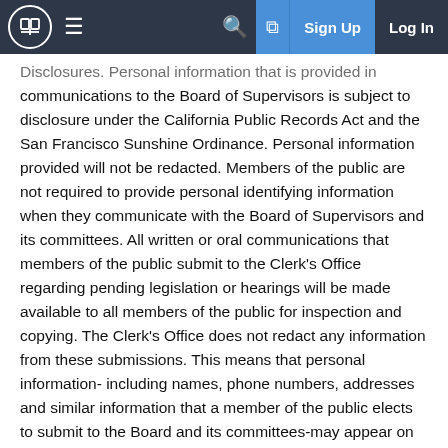Sign Up  Log In
Disclosures. Personal information that is provided in communications to the Board of Supervisors is subject to disclosure under the California Public Records Act and the San Francisco Sunshine Ordinance. Personal information provided will not be redacted. Members of the public are not required to provide personal identifying information when they communicate with the Board of Supervisors and its committees. All written or oral communications that members of the public submit to the Clerk's Office regarding pending legislation or hearings will be made available to all members of the public for inspection and copying. The Clerk's Office does not redact any information from these submissions. This means that personal information-including names, phone numbers, addresses and similar information that a member of the public elects to submit to the Board and its committees-may appear on the Board of Supervisors website or in other public documents that members of the public may inspect or copy.